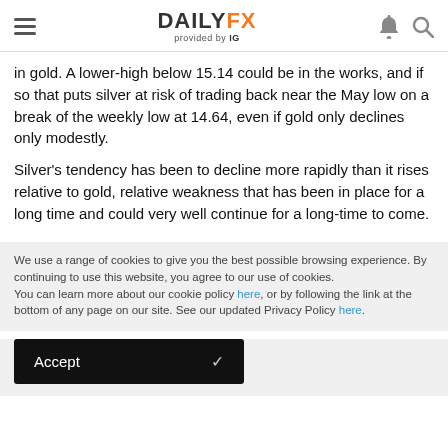DAILYFX provided by IG
in gold. A lower-high below 15.14 could be in the works, and if so that puts silver at risk of trading back near the May low on a break of the weekly low at 14.64, even if gold only declines only modestly.
Silver's tendency has been to decline more rapidly than it rises relative to gold, relative weakness that has been in place for a long time and could very well continue for a long-time to come.
We use a range of cookies to give you the best possible browsing experience. By continuing to use this website, you agree to our use of cookies.
You can learn more about our cookie policy here, or by following the link at the bottom of any page on our site. See our updated Privacy Policy here.
Accept